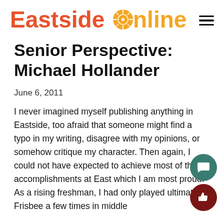Eastside Online
Senior Perspective: Michael Hollander
June 6, 2011
I never imagined myself publishing anything in Eastside, too afraid that someone might find a typo in my writing, disagree with my opinions, or somehow critique my character. Then again, I could not have expected to achieve most of the accomplishments at East which I am most proud. As a rising freshman, I had only played ultimate Frisbee a few times in middle school. I never for a single instance, was aware of